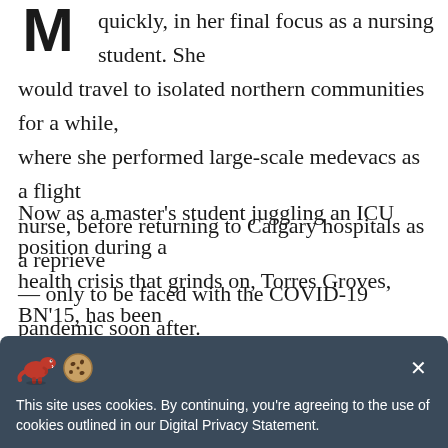M quickly, in her final focus as a nursing student. She would travel to isolated northern communities for a while, where she performed large-scale medevacs as a flight nurse, before returning to Calgary hospitals as a reprieve — only to be faced with the COVID-19 pandemic soon after.
Now as a master's student juggling an ICU position during a health crisis that grinds on, Torres Groves, BN'15, has been open about the difficulties she's endured. At a virtual meeting of nurses and students held one full year into the pandemic, she touched on her personal experience and shared a series of pictures that captured a glimpse of her life in the ICU, including the one shown above and others
[Figure (screenshot): Cookie consent banner with dinosaur and cookie emojis, close button (×), and text: 'This site uses cookies. By continuing, you're agreeing to the use of cookies outlined in our Digital Privacy Statement.']